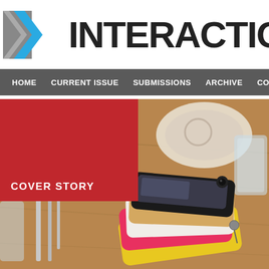[Figure (logo): IxInteraction magazine logo with stylized X graphic in blue and gray on left, bold text INTERACTIONS on right]
HOME   CURRENT ISSUE   SUBMISSIONS   ARCHIVE   COM
[Figure (photo): Photo of multiple smartphones stacked on a wooden table with cutlery, plates, and glasses in the background]
COVER STORY